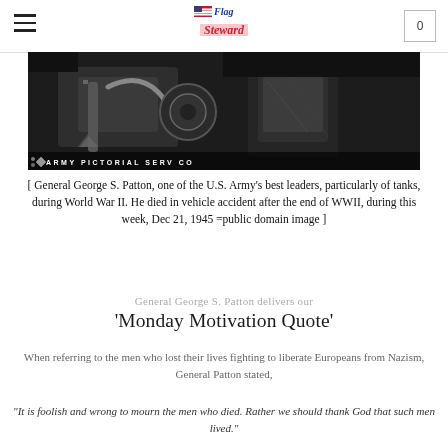Flag Steward — navigation header with hamburger menu and cart showing 0
[Figure (photo): Black and white photograph of military tank equipment/machinery, labeled ARMY PICTORIAL SERV CO]
[ General George S. Patton, one of the U.S. Army's best leaders, particularly of tanks, during World War II. He died in vehicle accident after the end of WWII, during this week, Dec 21, 1945 =public domain image ]
General George S. Patton delivers our
'Monday Motivation Quote'
When referring to the men who lost their lives fighting to liberate Europeans from Nazism, General Patton stated,
"It is foolish and wrong to mourn the men who died. Rather we should thank God that such men lived."